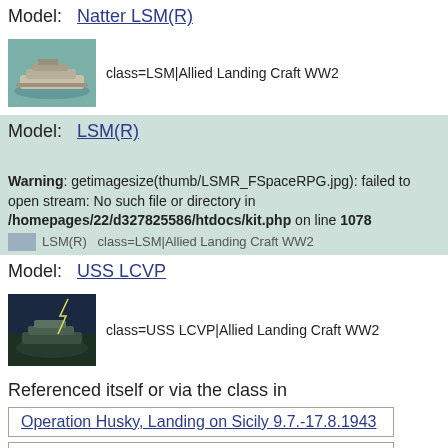Model: Natter LSM(R)
[Figure (photo): Thumbnail photo of Natter LSM(R) model ship on water surface, aerial view]
class=LSM|Allied Landing Craft WW2
Model: LSM(R)
Warning: getimagesize(thumb/LSMR_FSpaceRPG.jpg): failed to open stream: No such file or directory in /homepages/22/d327825586/htdocs/kit.php on line 1078
LSM(R) class=LSM|Allied Landing Craft WW2 (cutoff)
Model: USS LCVP
[Figure (photo): Thumbnail photo of USS LCVP model ship at sea with dark stormy background]
class=USS LCVP|Allied Landing Craft WW2
Referenced itself or via the class in
Operation Husky, Landing on Sicily 9.7.-17.8.1943
Operation Avalanche, Salerno Landings 9.-16.9.1943